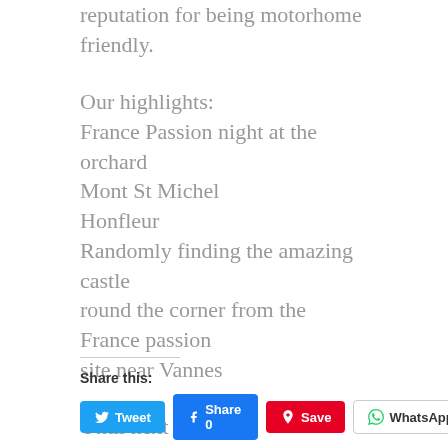reputation for being motorhome friendly.
Our highlights:
France Passion night at the orchard
Mont St Michel
Honfleur
Randomly finding the amazing castle round the corner from the France passion site near Vannes
Until next time
Lx
Share this:
Tweet  Share 0  Save  WhatsApp